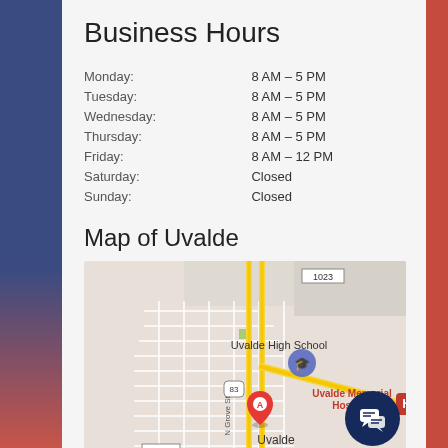Business Hours
| Day | Hours |
| --- | --- |
| Monday: | 8 AM – 5 PM |
| Tuesday: | 8 AM – 5 PM |
| Wednesday: | 8 AM – 5 PM |
| Thursday: | 8 AM – 5 PM |
| Friday: | 8 AM – 12 PM |
| Saturday: | Closed |
| Sunday: | Closed |
Map of Uvalde
[Figure (map): Google Maps view of Uvalde, Texas showing Uvalde High School, Uvalde Memorial Hospital (marked with H), location marker A, route 83, route 90, route 1023, route 1052, and N Grove St label.]